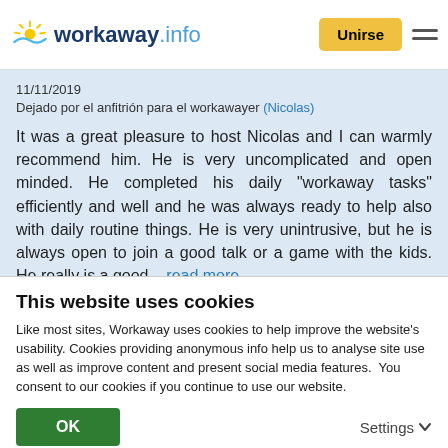workaway.info — Unirse
11/11/2019
Dejado por el anfitrión para el workawayer (Nicolas)
It was a great pleasure to host Nicolas and I can warmly recommend him. He is very uncomplicated and open minded. He completed his daily "workaway tasks" efficiently and well and he was always ready to help also with daily routine things. He is very unintrusive, but he is always open to join a good talk or a game with the kids. He really is a good... read more
[Figure (photo): Circular profile avatar showing a white house with blue sky background]
This website uses cookies
Like most sites, Workaway uses cookies to help improve the website's usability. Cookies providing anonymous info help us to analyse site use as well as improve content and present social media features.  You consent to our cookies if you continue to use our website.
OK    Settings